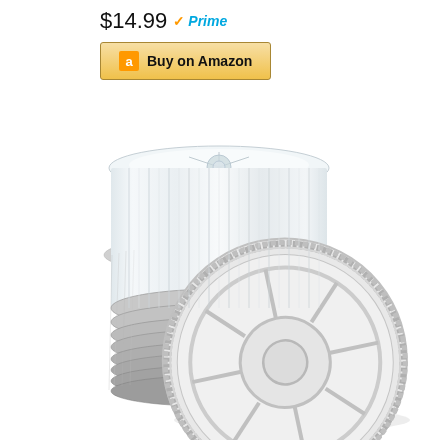$14.99 Prime
Buy on Amazon
[Figure (photo): Stack of round aluminum foil pans with clear plastic lids, product image on white background. One pan is shown face-up leaning against the stack showing the ridged spoke pattern on the base.]